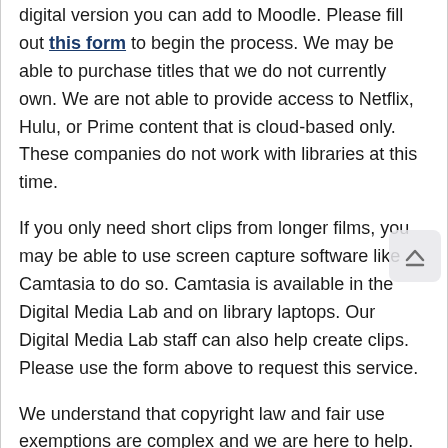digital version you can add to Moodle. Please fill out this form to begin the process. We may be able to purchase titles that we do not currently own. We are not able to provide access to Netflix, Hulu, or Prime content that is cloud-based only. These companies do not work with libraries at this time.
If you only need short clips from longer films, you may be able to use screen capture software like Camtasia to do so. Camtasia is available in the Digital Media Lab and on library laptops. Our Digital Media Lab staff can also help create clips. Please use the form above to request this service.
We understand that copyright law and fair use exemptions are complex and we are here to help. We invite you to read through this information on copyright and streaming video for online courses.